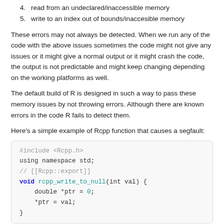4. read from an undeclared/inaccessible memory
5. write to an index out of bounds/inaccesible memory
These errors may not always be detected. When we run any of the code with the above issues sometimes the code might not give any issues or it might give a normal output or it might crash the code, the output is not predictable and might keep changing depending on the working platforms as well.
The default build of R is designed in such a way to pass these memory issues by not throwing errors. Although there are known errors in the code R fails to detect them.
Here's a simple example of Rcpp function that causes a segfault:
[Figure (screenshot): Code block showing a C++ Rcpp function rcpp_write_to_null that creates a null pointer and writes to it, causing a segfault.]
Here the error is obvious that we're creating a pointer of type double and assigning it to zero which means we are creating a null pointer. A